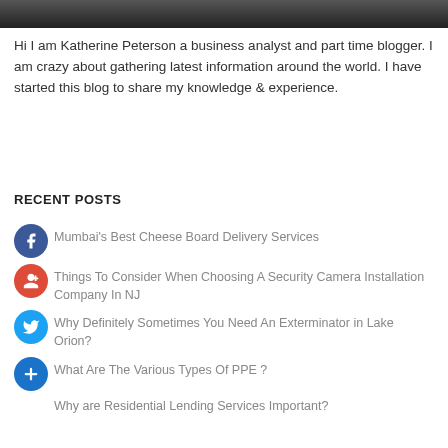[Figure (photo): Dark image strip at the top of the page (partial photo, mostly black/dark gray)]
Hi I am Katherine Peterson a business analyst and part time blogger. I am crazy about gathering latest information around the world. I have started this blog to share my knowledge & experience.
RECENT POSTS
Mumbai's Best Cheese Board Delivery Services
Things To Consider When Choosing A Security Camera Installation Company In NJ
Why Definitely Sometimes You Need An Exterminator in Lake Orion?
What Are The Various Types Of PPE ?
Why are Residential Lending Services Important?